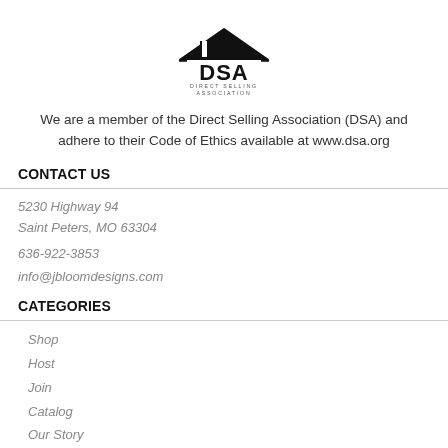[Figure (logo): DSA Direct Selling Association logo — house/roof shape above bold 'DSA' text, with 'DIRECT SELLING ASSOCIATION' caption below in small caps]
We are a member of the Direct Selling Association (DSA) and adhere to their Code of Ethics available at www.dsa.org
CONTACT US
5230 Highway 94
Saint Peters, MO 63304
636-922-3853
info@jbloomdesigns.com
CATEGORIES
Shop
Host
Join
Catalog
Our Story